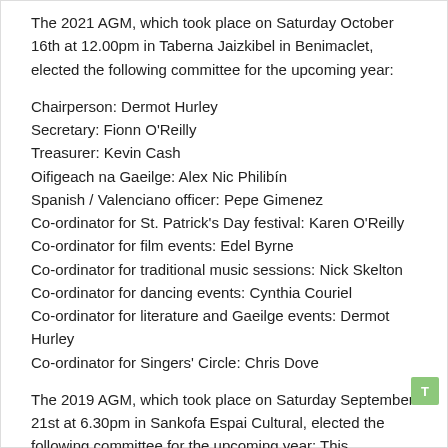The 2021 AGM, which took place on Saturday October 16th at 12.00pm in Taberna Jaizkibel in Benimaclet, elected the following committee for the upcoming year:
Chairperson: Dermot Hurley
Secretary: Fionn O'Reilly
Treasurer: Kevin Cash
Oifigeach na Gaeilge: Alex Nic Philibín
Spanish / Valenciano officer: Pepe Gimenez
Co-ordinator for St. Patrick's Day festival: Karen O'Reilly
Co-ordinator for film events: Edel Byrne
Co-ordinator for traditional music sessions: Nick Skelton
Co-ordinator for dancing events: Cynthia Couriel
Co-ordinator for literature and Gaeilge events: Dermot Hurley
Co-ordinator for Singers' Circle: Chris Dove
The 2019 AGM, which took place on Saturday September 21st at 6.30pm in Sankofa Espai Cultural, elected the following committee for the upcoming year: This